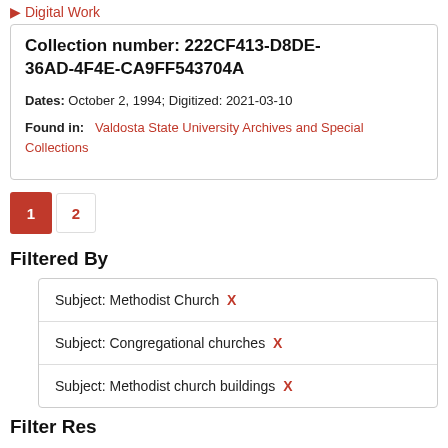Digital Work
Collection number: 222CF413-D8DE-36AD-4F4E-CA9FF543704A
Dates: October 2, 1994; Digitized: 2021-03-10
Found in: Valdosta State University Archives and Special Collections
1 2 (pagination)
Filtered By
Subject: Methodist Church X
Subject: Congregational churches X
Subject: Methodist church buildings X
Filter Results